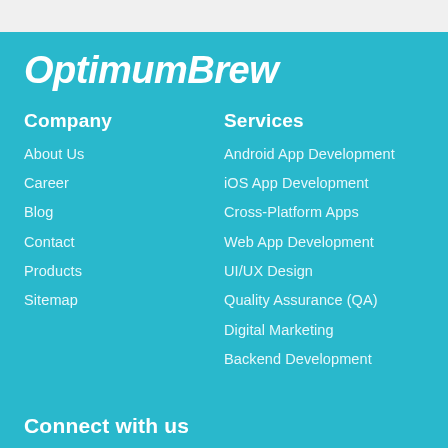OptimumBrew
Company
Services
About Us
Android App Development
Career
iOS App Development
Blog
Cross-Platform Apps
Contact
Web App Development
Products
UI/UX Design
Sitemap
Quality Assurance (QA)
Digital Marketing
Backend Development
Connect with us